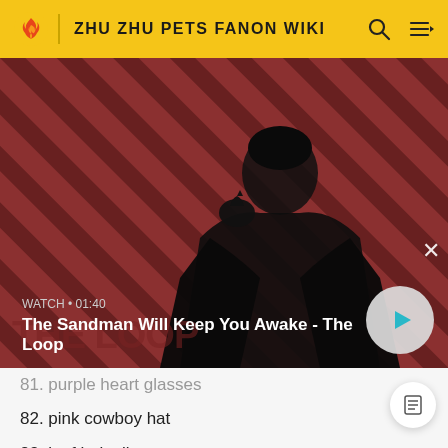ZHU ZHU PETS FANON WIKI
[Figure (screenshot): Video thumbnail for 'The Sandman Will Keep You Awake - The Loop' with a dark figure, crow, and diagonal red/dark stripes background. Duration shown as WATCH • 01:40 with a play button.]
81. purple heart glasses
82. pink cowboy hat
83. leaf hair clip
84. black police beret
85. watermelon hair clip
86. blue snow hat